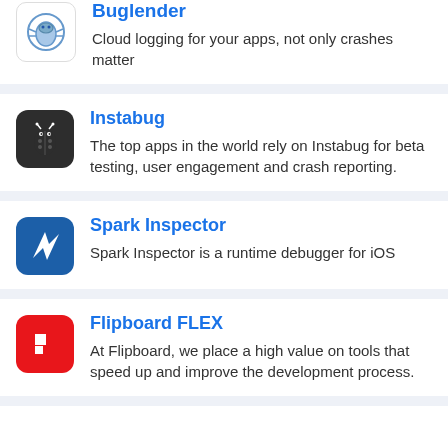Buglender
Cloud logging for your apps, not only crashes matter
Instabug
The top apps in the world rely on Instabug for beta testing, user engagement and crash reporting.
Spark Inspector
Spark Inspector is a runtime debugger for iOS
Flipboard FLEX
At Flipboard, we place a high value on tools that speed up and improve the development process.